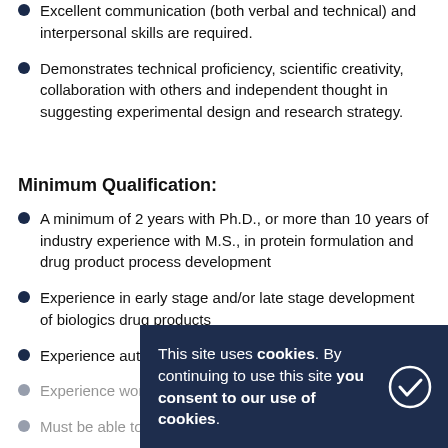Excellent communication (both verbal and technical) and interpersonal skills are required.
Demonstrates technical proficiency, scientific creativity, collaboration with others and independent thought in suggesting experimental design and research strategy.
Minimum Qualification:
A minimum of 2 years with Ph.D., or more than 10 years of industry experience with M.S., in protein formulation and drug product process development
Experience in early stage and/or late stage development of biologics drug products
Experience authoring regulatory submissions (IND, IMP…)
Experience working with CME teams…
Must be able to travel up to 10%
This site uses cookies. By continuing to use this site you consent to our use of cookies.